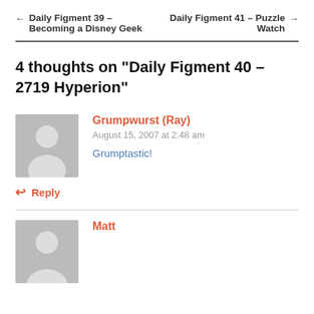← Daily Figment 39 – Becoming a Disney Geek    Daily Figment 41 – Puzzle Watch →
4 thoughts on "Daily Figment 40 – 2719 Hyperion"
Grumpwurst (Ray)
August 15, 2007 at 2:48 am
Grumptastic!
↩ Reply
Matt